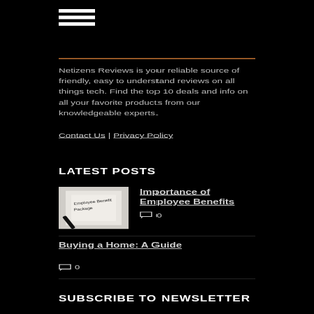[Figure (other): Hamburger menu icon with three horizontal white bars]
Netizens Reviews is your reliable source of friendly, easy to understand reviews on all things tech. Find the top 10 deals and info on all your favorite products from our knowledgeable experts.
Contact Us | Privacy Policy
LATEST POSTS
[Figure (photo): Photo of an Employee Benefits Package document with pen]
Importance of Employee Benefits
0
Buying a Home: A Guide
0
SUBSCRIBE TO NEWSLETTER